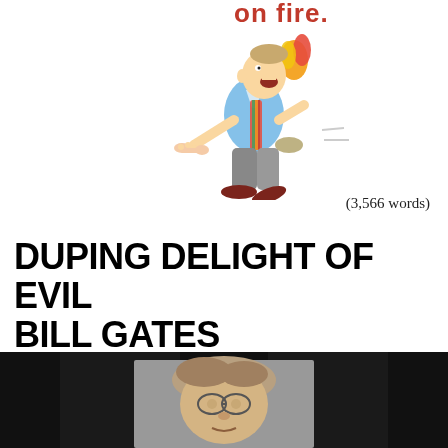[Figure (illustration): Cartoon of a man running with his pants on fire, wearing a striped tie and holding a bone, with flames coming from behind him. Partial red bold text visible at top reading 'on fire.']
(3,566 words)
DUPING DELIGHT OF EVIL BILL GATES
[Figure (photo): Photo of a person (Bill Gates caricature/illustration) against a dark/black background, cropped at the bottom of the page.]